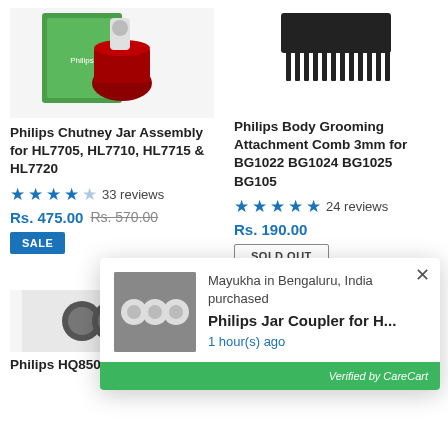[Figure (photo): Product image of Philips Chutney Jar Assembly with green box packaging and red base]
[Figure (photo): Product image of Philips Body Grooming Attachment Comb 3mm, showing a black comb attachment]
Philips Chutney Jar Assembly for HL7705, HL7710, HL7715 & HL7720
★★★★☆ 33 reviews
Rs. 475.00 Rs. 570.00
SALE
Philips Body Grooming Attachment Comb 3mm for BG1022 BG1024 BG1025 BG105
★★★★★ 24 reviews
Rs. 190.00
SOLD OUT
[Figure (photo): Partial product image at bottom left]
[Figure (photo): Partial product image at bottom right with text overlay]
Philips HQ8505 15V
Philips Replacement
Mayukha in Bengaluru, India purchased
Philips Jar Coupler for H...
1 hour(s) ago